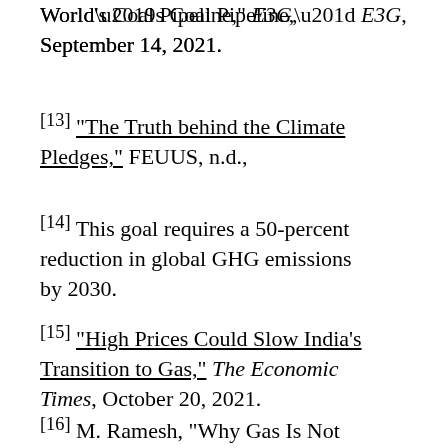World’s Coal Pipeline,” E3G, September 14, 2021.
[13] “The Truth behind the Climate Pledges,” FEUUS, n.d.,
[14] This goal requires a 50-percent reduction in global GHG emissions by 2030.
[15] “High Prices Could Slow India’s Transition to Gas,” The Economic Times, October 20, 2021.
[16] M. Ramesh, “Why Gas Is Not Just Hot Air,” The Hindu